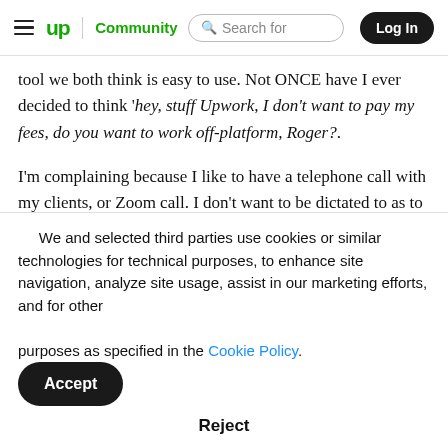up | Community   Search for   Log In
tool we both think is easy to use. Not ONCE have I ever decided to think 'hey, stuff Upwork, I don't want to pay my fees, do you want to work off-platform, Roger?.
I'm complaining because I like to have a telephone call with my clients, or Zoom call. I don't want to be dictated to as to having to use Upwork to communicate before a contract is agreed upon. This is just another wonderful way that Corporate Upwork is looking after its' profits and glossing it over as a way to make it look like you're looking out for
We and selected third parties use cookies or similar technologies for technical purposes, to enhance site navigation, analyze site usage, assist in our marketing efforts, and for other purposes as specified in the Cookie Policy.
Accept
Reject